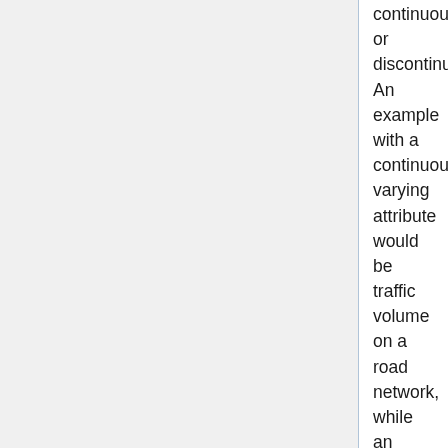continuously or discontinuously. An example with a continuously varying attribute would be traffic volume on a road network, while an example of a discontinuously varying attribute would be the posted speed limit on a road network.
As can be gathered, some vector datasets could be represented directly as coverages, for example, representing buildings as a discrete solid coverage or a road network as a discrete curve coverage. Further, some datasets could be represented as a discrete coverage or as a continuous coverage generated from the discrete coverage.
Each coverage has the attributes domainExtent (its extent in space, time or space-time), rangeType (attributes